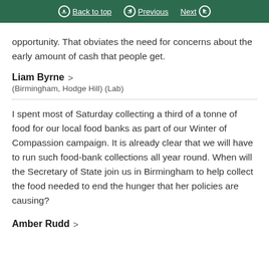Back to top   Previous   Next
opportunity. That obviates the need for concerns about the early amount of cash that people get.
Liam Byrne
(Birmingham, Hodge Hill) (Lab)
I spent most of Saturday collecting a third of a tonne of food for our local food banks as part of our Winter of Compassion campaign. It is already clear that we will have to run such food-bank collections all year round. When will the Secretary of State join us in Birmingham to help collect the food needed to end the hunger that her policies are causing?
Amber Rudd